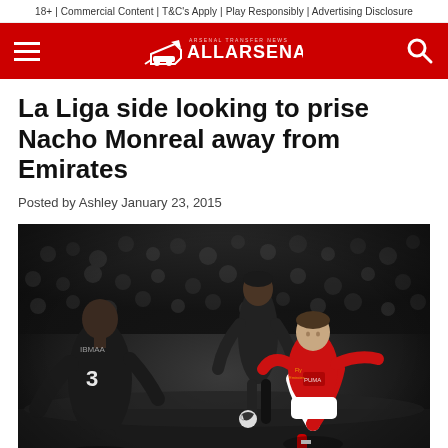18+ | Commercial Content | T&C's Apply | Play Responsibly | Advertising Disclosure
[Figure (logo): AllArsenal website logo on red navigation bar with hamburger menu icon on left and search icon on right]
La Liga side looking to prise Nacho Monreal away from Emirates
Posted by Ashley January 23, 2015
[Figure (photo): Black and white action photo of a soccer match. An Arsenal player in red and white kit (Nacho Monreal) running with the ball, opposed by players wearing number 3 jersey in dark kit. Stadium crowd visible in background.]